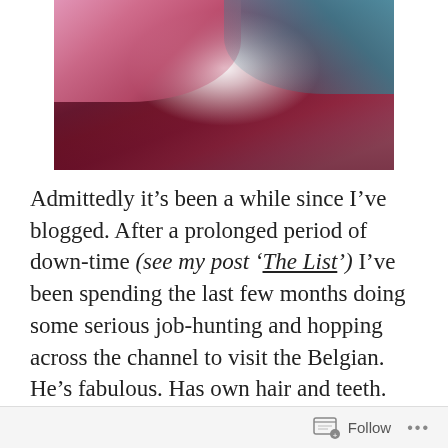[Figure (photo): Two people with colorful nails and jewelry holding their hands over a glowing crystal ball on a red draped surface]
Admittedly it’s been a while since I’ve blogged. After a prolonged period of down-time (see my post ‘The List’) I’ve been spending the last few months doing some serious job-hunting and hopping across the channel to visit the Belgian. He’s fabulous. Has own hair and teeth. Tick. Cooks. Tick. Gardens. Tick. Gardens in my garden. And no, that is not a euphemism, he really did spend last Saturday digging up weeds in the
Follow ...